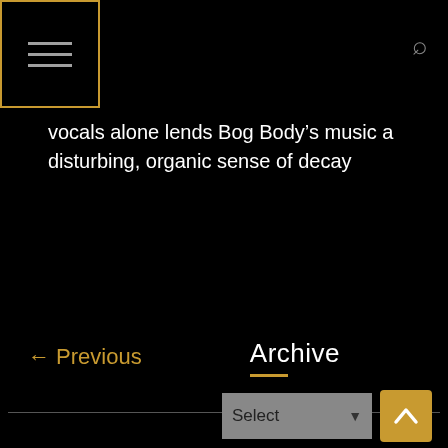Menu icon and search icon
vocals alone lends Bog Body’s music a disturbing, organic sense of decay
Read more
← Previous
Archive
Select